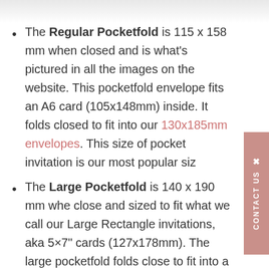[Figure (photo): Partial image visible at top of page, cropped — appears to be a white/light grey product image (pocketfold envelope)]
The Regular Pocketfold is 115 x 158 mm when closed and is what's pictured in all the images on the website. This pocketfold envelope fits an A6 card (105x148mm) inside. It folds closed to fit into our 130x185mm envelopes. This size of pocket invitation is our most popular siz
The Large Pocketfold is 140 x 190 mm whe close and sized to fit what we call our Large Rectangle invitations, aka 5×7" cards (127x178mm). The large pocketfold folds close to fit into a C5 envelope. These envelopes take two stamps to post.
What's the difference